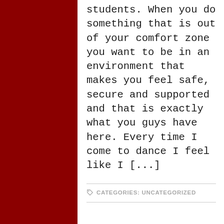students. When you do something that is out of your comfort zone you want to be in an environment that makes you feel safe, secure and supported and that is exactly what you guys have here. Every time I come to dance I feel like I [...]
CATEGORIES: UNCATEGORIZED